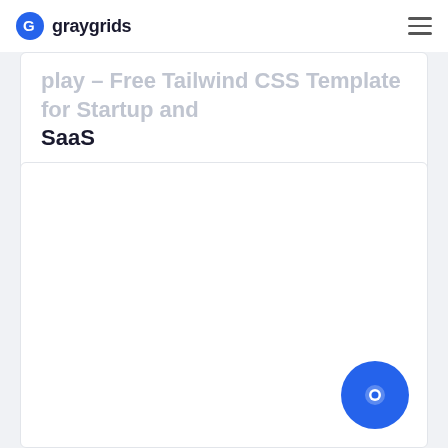graygrids
play – Free Tailwind CSS Template for Startup and SaaS
[Figure (screenshot): Large white content card area, mostly blank white space with a circular blue chat button in the bottom right corner]